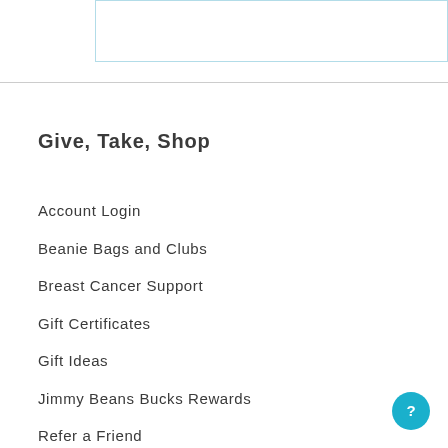[Figure (other): Search box input field with light blue border, partially visible at top of page]
Give, Take, Shop
Account Login
Beanie Bags and Clubs
Breast Cancer Support
Gift Certificates
Gift Ideas
Jimmy Beans Bucks Rewards
Refer a Friend
Wish List
[Figure (other): Circular teal/blue help button with question mark icon at bottom right]